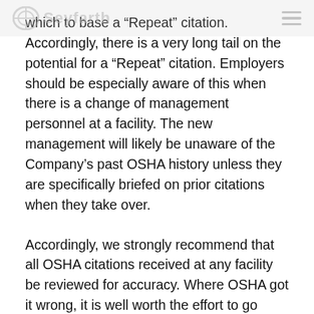Seyfarth
which to base a “Repeat” citation. Accordingly, there is a very long tail on the potential for a “Repeat” citation. Employers should be especially aware of this when there is a change of management personnel at a facility. The new management will likely be unaware of the Company’s past OSHA history unless they are specifically briefed on prior citations when they take over.
Accordingly, we strongly recommend that all OSHA citations received at any facility be reviewed for accuracy. Where OSHA got it wrong, it is well worth the effort to go through the process of having the citation either modified or deleted in its entirety. Where OSHA got it right and the facility must take the citation, ensure that the citation has been